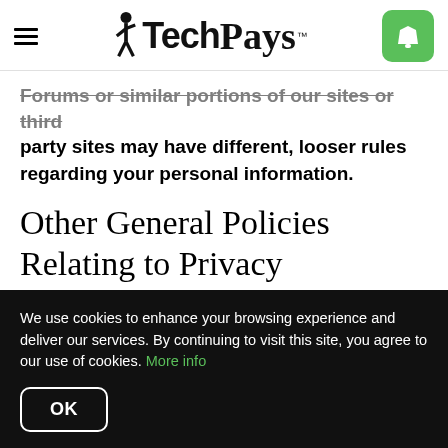TechPays
Forums or similar portions of our sites or third party sites may have different, looser rules regarding your personal information.
Other General Policies Relating to Privacy
Disclosures by Children. We believe that protecting
We use cookies to enhance your browsing experience and deliver our services. By continuing to visit this site, you agree to our use of cookies. More info